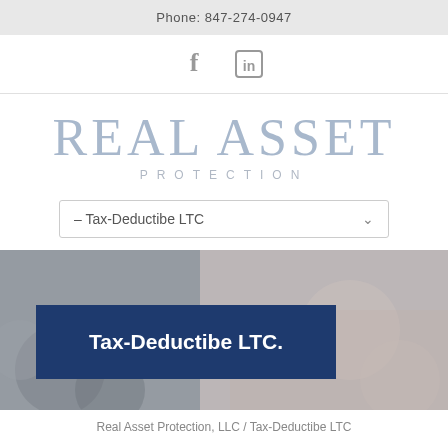Phone: 847-274-0947
[Figure (other): Social media icons: Facebook (f) and LinkedIn]
[Figure (logo): Real Asset Protection logo with large serif text 'REAL ASSET' and smaller spaced caps 'PROTECTION']
– Tax-Deductibe LTC
[Figure (photo): Background image of financial/medical items (calculator, coins, hands) with a dark blue overlay box reading 'Tax-Deductibe LTC.']
Real Asset Protection, LLC / Tax-Deductibe LTC